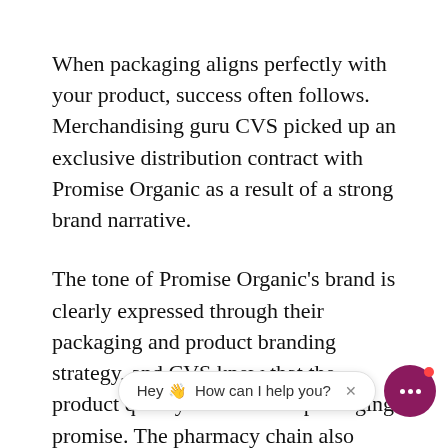When packaging aligns perfectly with your product, success often follows. Merchandising guru CVS picked up an exclusive distribution contract with Promise Organic as a result of a strong brand narrative.
The tone of Promise Organic's brand is clearly expressed through their packaging and product branding strategy, and CVS knew that the product quality matched the packaging promise. The pharmacy chain also knew their customer demographic intersected with Promise Organic's target audience, making the partnership a natural, mutually b
Exposure in large, national chains such as CVS